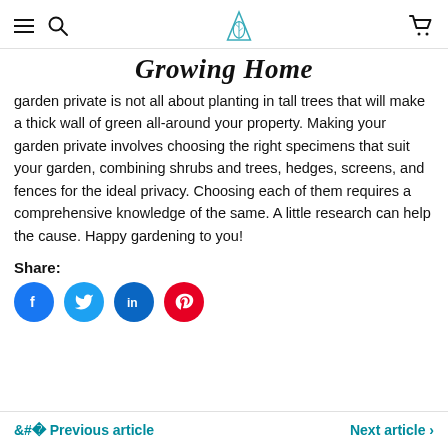Growing Home
garden private is not all about planting in tall trees that will make a thick wall of green all-around your property. Making your garden private involves choosing the right specimens that suit your garden, combining shrubs and trees, hedges, screens, and fences for the ideal privacy. Choosing each of them requires a comprehensive knowledge of the same. A little research can help the cause. Happy gardening to you!
Share:
[Figure (infographic): Four social media share buttons: Facebook (blue circle with f), Twitter (light blue circle with bird), LinkedIn (blue circle with in), Pinterest (red circle with P)]
< Previous article    Next article >